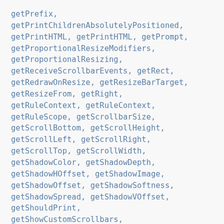getPrefix, getPrintChildrenAbsolutelyPositioned, getPrintHTML, getPrintHTML, getPrompt, getProportionalResizeModifiers, getProportionalResizing, getReceiveScrollbarEvents, getRect, getRedrawOnResize, getResizeBarTarget, getResizeFrom, getRight, getRuleContext, getRuleContext, getRuleScope, getScrollbarSize, getScrollBottom, getScrollHeight, getScrollLeft, getScrollRight, getScrollTop, getScrollWidth, getShadowColor, getShadowDepth, getShadowHOffset, getShadowImage, getShadowOffset, getShadowSoftness, getShadowSpread, getShadowVOffset, getShouldPrint, getShowCustomScrollbars, getShowDragShadow, getShowEdges,